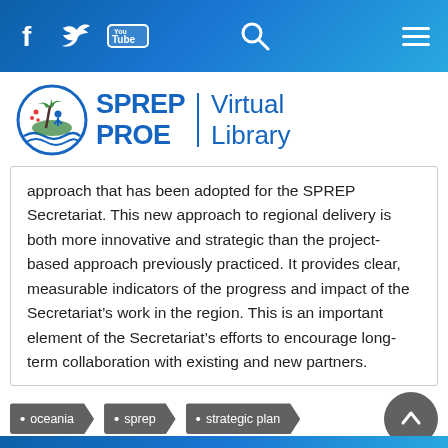SPREP PROE Virtual Library — navigation bar with social icons, search, and menu
[Figure (logo): SPREP PROE Virtual Library logo with circular emblem and text]
approach that has been adopted for the SPREP Secretariat. This new approach to regional delivery is both more innovative and strategic than the project-based approach previously practiced. It provides clear, measurable indicators of the progress and impact of the Secretariat’s work in the region. This is an important element of the Secretariat’s efforts to encourage long-term collaboration with existing and new partners.
oceania
sprep
strategic plan